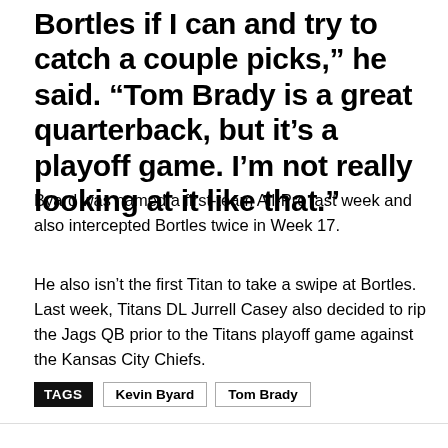Bortles if I can and try to catch a couple picks," he said. "Tom Brady is a great quarterback, but it's a playoff game. I'm not really looking at it like that."
Byard was named a first-team All-Pro last week and also intercepted Bortles twice in Week 17.
He also isn't the first Titan to take a swipe at Bortles. Last week, Titans DL Jurrell Casey also decided to rip the Jags QB prior to the Titans playoff game against the Kansas City Chiefs.
TAGS: Kevin Byard, Tom Brady